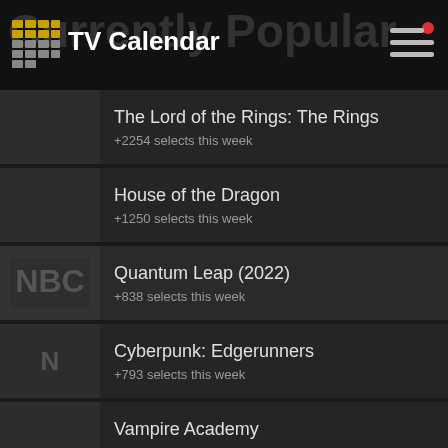TV Calendar
Currently Popular
The Lord of the Rings: The Rings +2254 selects this week
House of the Dragon +1250 selects this week
Quantum Leap (2022) +838 selects this week
Cyberpunk: Edgerunners +793 selects this week
Vampire Academy +775 selects this week